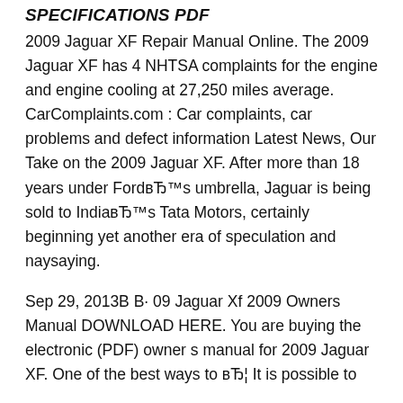SPECIFICATIONS PDF
2009 Jaguar XF Repair Manual Online. The 2009 Jaguar XF has 4 NHTSA complaints for the engine and engine cooling at 27,250 miles average. CarComplaints.com : Car complaints, car problems and defect information Latest News, Our Take on the 2009 Jaguar XF. After more than 18 years under FordвЂ™s umbrella, Jaguar is being sold to IndiaвЂ™s Tata Motors, certainly beginning yet another era of speculation and naysaying.
Sep 29, 2013В В· 09 Jaguar Xf 2009 Owners Manual DOWNLOAD HERE. You are buying the electronic (PDF) owner s manual for 2009 Jaguar XF. One of the best ways to вЂ¦ It is possible to